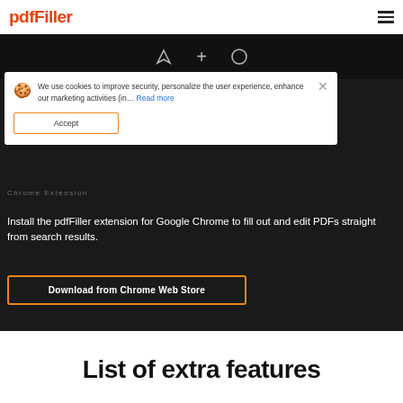pdfFiller
[Figure (screenshot): Dark pdfFiller interface screenshot showing toolbar icons (arrow, plus, circle)]
We use cookies to improve security, personalize the user experience, enhance our marketing activities (in... Read more
Accept
Install the pdfFiller extension for Google Chrome to fill out and edit PDFs straight from search results.
Download from Chrome Web Store
List of extra features